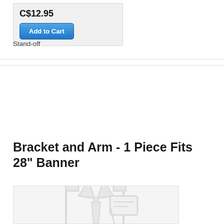C$12.95
Add to Cart
Stand-off
Bracket and Arm - 1 Piece  Fits 28" Banner
[Figure (illustration): Placeholder product image showing a shirt with tie and price tag icon in light gray]